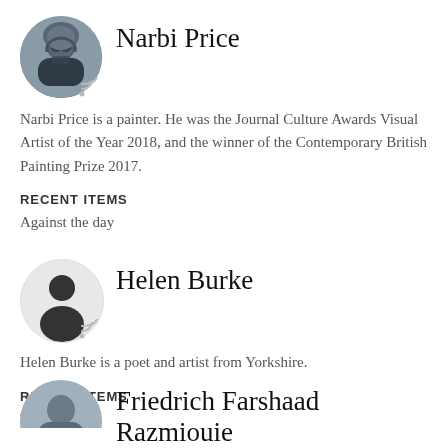[Figure (photo): Circular avatar photo of Narbi Price, a bearded man wearing glasses]
Narbi Price
Narbi Price is a painter. He was the Journal Culture Awards Visual Artist of the Year 2018, and the winner of the Contemporary British Painting Prize 2017.
RECENT ITEMS
Against the day
[Figure (illustration): Circular avatar with default silhouette icon for Helen Burke]
Helen Burke
Helen Burke is a poet and artist from Yorkshire.
RECENT ITEMS
The Match
[Figure (photo): Partial circular avatar photo of Friedrich Farshaad Razmiouie, partially cropped at bottom of page]
Friedrich Farshaad Razmiouie